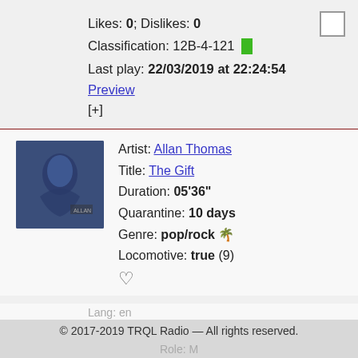Likes: 0; Dislikes: 0
Classification: 12B-4-121
Last play: 22/03/2019 at 22:24:54
Preview
[+]
Artist: Allan Thomas
Title: The Gift
Duration: 05'36"
Quarantine: 10 days
Genre: pop/rock 🌴
Locomotive: true (9)
♡
Lang: en
© 2017-2019 TRQL Radio — All rights reserved.
Role: M